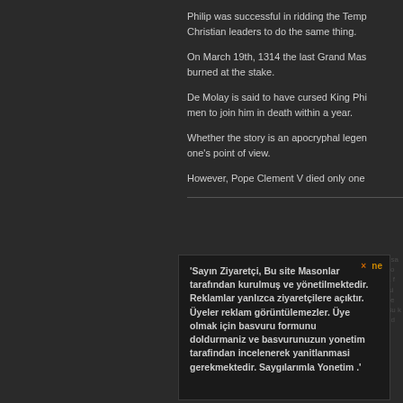Philip was successful in ridding the Temp... Christian leaders to do the same thing.
On March 19th, 1314 the last Grand Mas... burned at the stake.
De Molay is said to have cursed King Phi... men to join him in death within a year.
Whether the story is an apocryphal legen... one's point of view.
However, Pope Clement V died only one...
'Sayın Ziyaretçi, Bu site Masonlar tarafından kurulmuş ve yönetilmektedir. Reklamlar yanlızca ziyaretçilere açıktır. Üyeler reklam görüntülemezler. Üye olmak için basvuru formunu doldurmaniz ve basvurunuzun yonetim tarafindan incelenerek yanitlanmasi gerekmektedir. Saygılarımla Yonetim .'